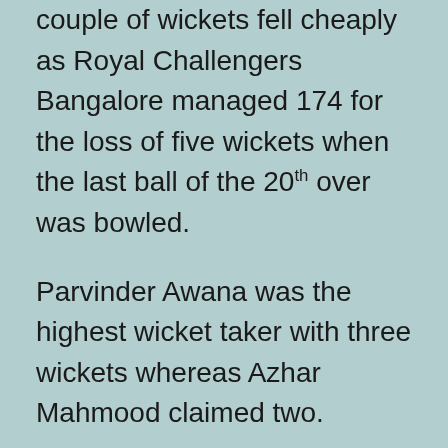couple of wickets fell cheaply as Royal Challengers Bangalore managed 174 for the loss of five wickets when the last ball of the 20th over was bowled.
Parvinder Awana was the highest wicket taker with three wickets whereas Azhar Mahmood claimed two.
Kings XI Punjab started the chase nicely and got 24 runs in 2.2 overs with 3 fours when the stumps of Shaun Marsh were destroyed by Zaheer Khan. Azhar Mahmood got together with Adam Gilchrist and the first hit 3 back to back fours in the sixth over. Gilchrist got 3